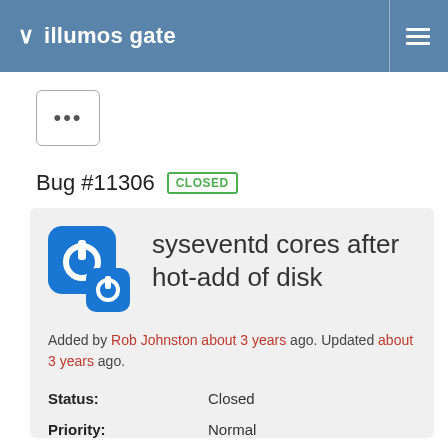illumos gate
[Figure (other): Button with three dots (ellipsis menu)]
Bug #11306 CLOSED
syseventd cores after hot-add of disk
Added by Rob Johnston about 3 years ago. Updated about 3 years ago.
| Field | Value |
| --- | --- |
| Status: | Closed |
| Priority: | Normal |
| Assignee: | Rob Johnston |